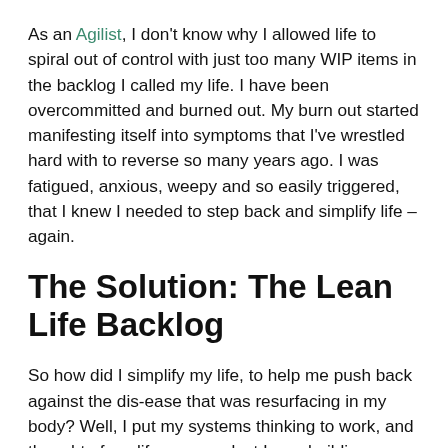As an Agilist, I don't know why I allowed life to spiral out of control with just too many WIP items in the backlog I called my life. I have been overcommitted and burned out. My burn out started manifesting itself into symptoms that I've wrestled hard with to reverse so many years ago. I was fatigued, anxious, weepy and so easily triggered, that I knew I needed to step back and simplify life – again.
The Solution: The Lean Life Backlog
So how did I simplify my life, to help me push back against the dis-ease that was resurfacing in my body? Well, I put my systems thinking to work, and thought of my life as a product I was building.